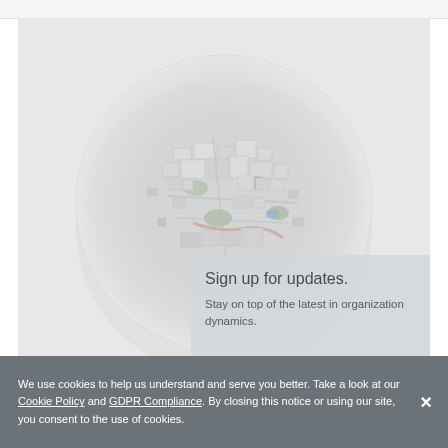[Figure (photo): A miniature planet / tiny world aerial photograph of a dense urban city rendered as a spherical globe shape against a light grey background. Buildings, roads, trees and structures are visible on the sphere.]
Sign up for updates.
Stay on top of the latest in organization dynamics.
We use cookies to help us understand and serve you better. Take a look at our Cookie Policy and GDPR Compliance. By closing this notice or using our site, you consent to the use of cookies.